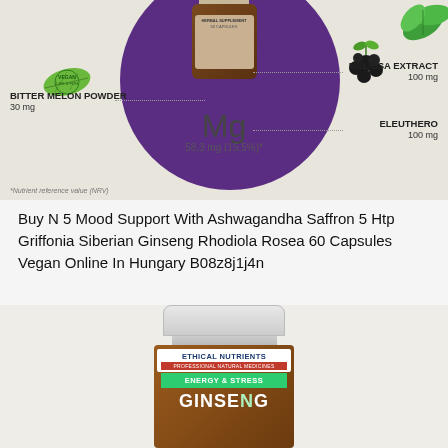[Figure (photo): Product supplement infographic showing a dark bottle on purple circle background with ingredient callouts: Bitter Melon Powder 30mg, Melissa Extract 100mg, Eleuthero 100mg, Mg 58.3 mg (15.5%)*, with berry and leaf decorations]
Buy N 5 Mood Support With Ashwagandha Saffron 5 Htp Griffonia Siberian Ginseng Rhodiola Rosea 60 Capsules Vegan Online In Hungary B08z8j1j4n
[Figure (photo): Amber supplement bottle with white ribbed cap showing Ethical Nutrients Professional Natural Medicines brand, Energy & Stress line, Ginseng product label]